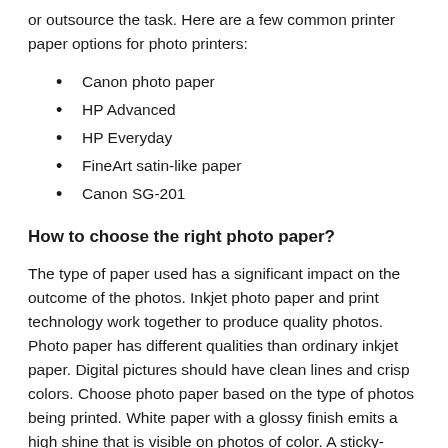or outsource the task. Here are a few common printer paper options for photo printers:
Canon photo paper
HP Advanced
HP Everyday
FineArt satin-like paper
Canon SG-201
How to choose the right photo paper?
The type of paper used has a significant impact on the outcome of the photos. Inkjet photo paper and print technology work together to produce quality photos. Photo paper has different qualities than ordinary inkjet paper. Digital pictures should have clean lines and crisp colors. Choose photo paper based on the type of photos being printed. White paper with a glossy finish emits a high shine that is visible on photos of color. A sticky-backed paper is ideal to make pictures for magnets. Be attentive to the paper density and wrinkle-resistant qualities. You want to be sure your printer is equipped to print photos. Here are a few types of available